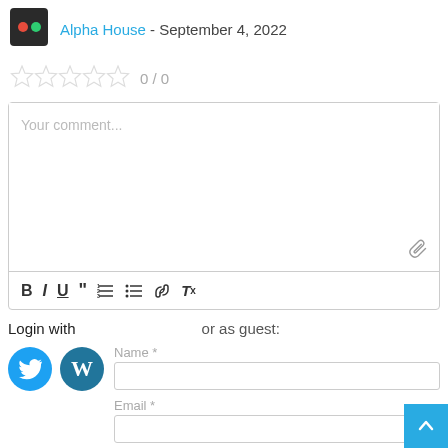[Figure (screenshot): Avatar icon showing a dark square with red and green dots (traffic light style)]
Alpha House - September 4, 2022
[Figure (other): Five empty star rating icons showing 0/0 rating]
0 / 0
Your comment...
[Figure (other): Comment text editor toolbar with Bold, Italic, Underline, Blockquote, Ordered list, Unordered list, Link, and Clear formatting buttons]
Login with   or as guest:
[Figure (other): Twitter bird logo blue circle icon]
[Figure (other): WordPress W logo blue circle icon]
Name *
Email *